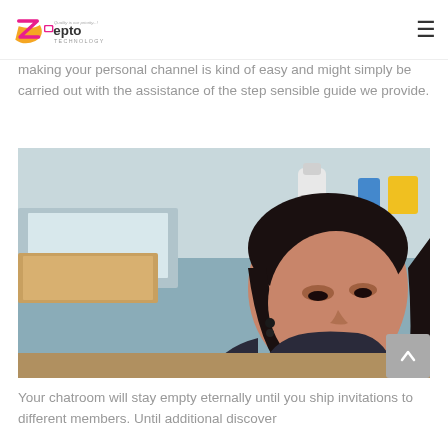Zepto Technology — Quality is our priority...!
making your personal channel is kind of easy and might simply be carried out with the assistance of the step sensible guide we provide.
[Figure (photo): A woman with dark hair lying down, looking at the camera. Background shows a room with shelves and bottles.]
Your chatroom will stay empty eternally until you ship invitations to different members. Until additional discover